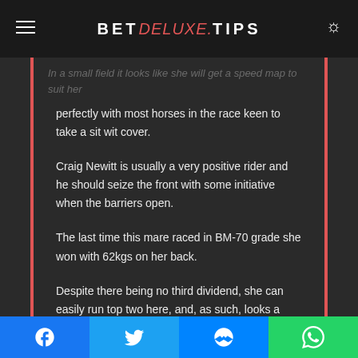BETDELUXE.TIPS
Craig Achery may not have won since August 2022, but she can run a bold race from the front.
In a small field it looks like she will get a speed map to suit her perfectly with most horses in the race keen to take a sit with cover.
Craig Newitt is usually a very positive rider and he should seize the front with some initiative when the barriers open.
The last time this mare raced in BM-70 grade she won with 62kgs on her back.
Despite there being no third dividend, she can easily run top two here, and, as such, looks a good each-way bet.
Facebook | Twitter | Messenger | WhatsApp